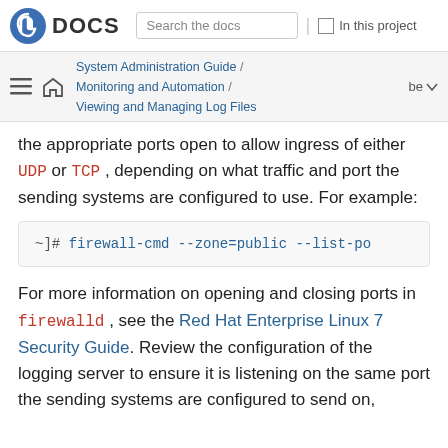Fedora DOCS | Search the docs | In this project
System Administration Guide / Monitoring and Automation / Viewing and Managing Log Files | be
the appropriate ports open to allow ingress of either UDP or TCP , depending on what traffic and port the sending systems are configured to use. For example:
~]# firewall-cmd --zone=public --list-po
For more information on opening and closing ports in firewalld , see the Red Hat Enterprise Linux 7 Security Guide. Review the configuration of the logging server to ensure it is listening on the same port the sending systems are configured to send on,